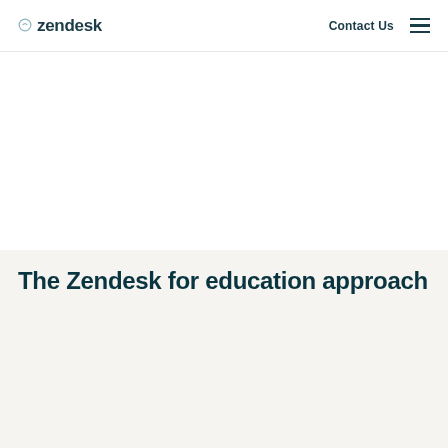zendesk | Contact Us
The Zendesk for education approach